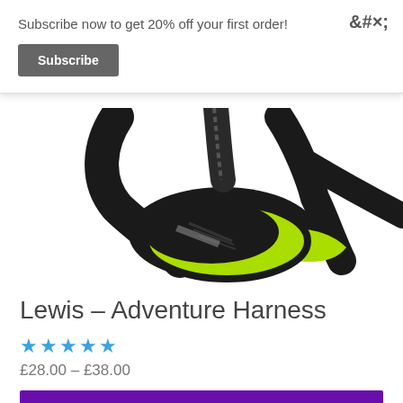Subscribe now to get 20% off your first order!
Subscribe
×
[Figure (photo): Close-up photo of a black and neon green dog adventure harness, showing the chest/belly buckle area with textured black straps and bright lime green padding underneath.]
Lewis – Adventure Harness
★★★★★
£28.00 – £38.00